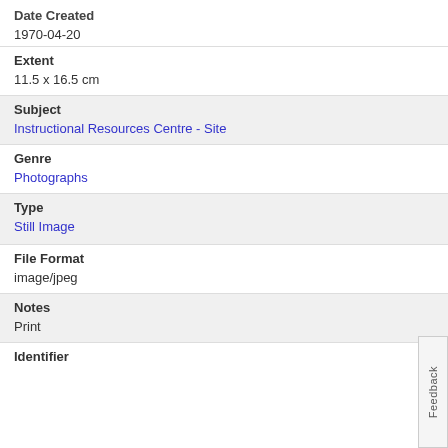Date Created
1970-04-20
Extent
11.5 x 16.5 cm
Subject
Instructional Resources Centre - Site
Genre
Photographs
Type
Still Image
File Format
image/jpeg
Notes
Print
Identifier